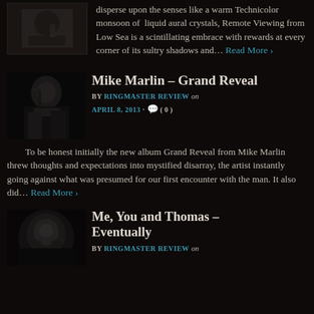[Figure (photo): Black and white photo of a person, partially visible at top]
disperse upon the senses like a warm Technicolor monsoon of liquid aural crystals, Remote Viewing from Low Sea is a scintillating embrace with rewards at every corner of its sultry shadows and... Read More ›
Mike Marlin – Grand Reveal
BY RINGMASTER REVIEW on APRIL 8, 2013 · 💬 ( 0 )
[Figure (photo): Black and white photo of Mike Marlin performing at microphone]
To be honest initially the new album Grand Reveal from Mike Marlin threw thoughts and expectations into mystified disarray, the artist instantly going against what was presumed for our first encounter with the man. It also did... Read More ›
Me, You and Thomas – Eventually
BY RINGMASTER REVIEW on
[Figure (photo): Black and white photo of a person's face, partially visible at bottom]